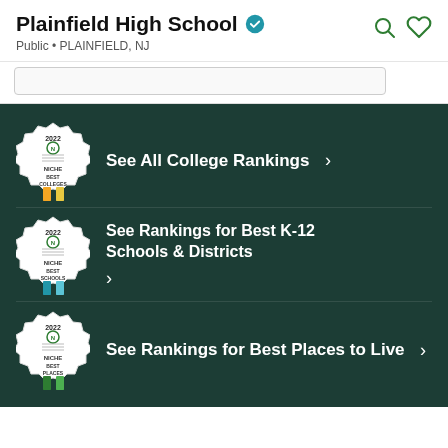Plainfield High School
Public • PLAINFIELD, NJ
See All College Rankings
See Rankings for Best K-12 Schools & Districts
See Rankings for Best Places to Live